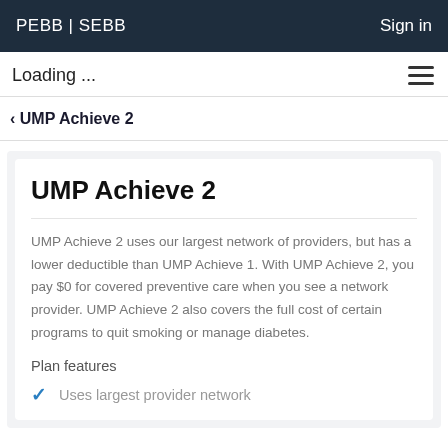PEBB | SEBB   Sign in
Loading ...
< UMP Achieve 2
UMP Achieve 2
UMP Achieve 2 uses our largest network of providers, but has a lower deductible than UMP Achieve 1. With UMP Achieve 2, you pay $0 for covered preventive care when you see a network provider. UMP Achieve 2 also covers the full cost of certain programs to quit smoking or manage diabetes.
Plan features
Uses largest provider network